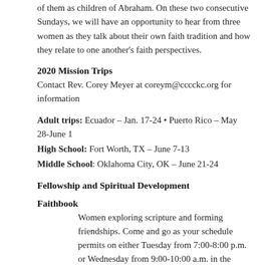of them as children of Abraham. On these two consecutive Sundays, we will have an opportunity to hear from three women as they talk about their own faith tradition and how they relate to one another's faith perspectives.
2020 Mission Trips
Contact Rev. Corey Meyer at coreym@cccckc.org for information
Adult trips: Ecuador – Jan. 17-24 • Puerto Rico – May 28-June 1
High School: Fort Worth, TX – June 7-13
Middle School: Oklahoma City, OK – June 21-24
Fellowship and Spiritual Development
Faithbook
Women exploring scripture and forming friendships. Come and go as your schedule permits on either Tuesday from 7:00-8:00 p.m. or Wednesday from 9:00-10:00 a.m. in the